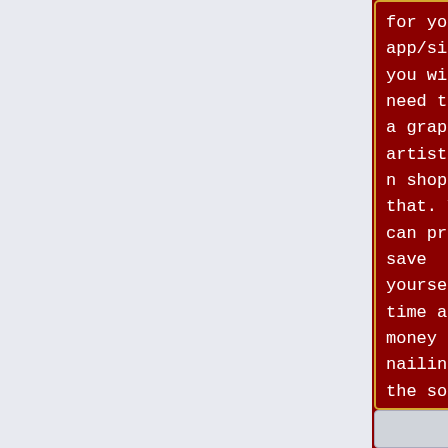[Figure (screenshot): Dark red background code editor showing two side-by-side code panels with HTML blockquote text in white monospace font. Left panel shows code ending with '</blockquote>'. Right panel shows same code but with a highlighted blue box containing 'See also UI/UX Resources.' before the closing tag. Below both panels are grey bars showing '<h2>' tags.]